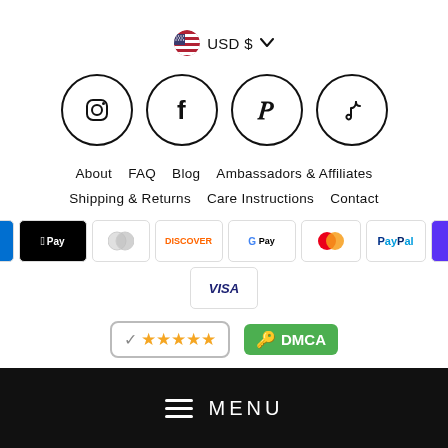USD $ ∨
[Figure (infographic): Four social media icons in circles: Instagram, Facebook, Pinterest, TikTok]
About   FAQ   Blog   Ambassadors & Affiliates
Shipping & Returns   Care Instructions   Contact
[Figure (infographic): Payment method badges: Amex, Apple Pay, Diners Club, Discover, Google Pay, Mastercard, PayPal, ShopPay, Visa]
[Figure (infographic): Trust badges: 5-star review badge and DMCA protected badge]
MENU